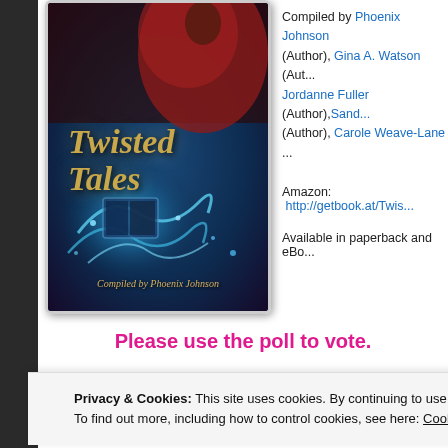[Figure (illustration): Book cover for 'Twisted Tales' compiled by Phoenix Johnson, featuring fantasy artwork with a dark background, blue swirling magic effects, a figure in red, and golden script title text.]
Compiled by Phoenix Johnson (Author), Gina A. Watson (Author), Jordanne Fuller (Author), Sand... (Author), Carole Weave-Lane ... (Author),
Amazon:  http://getbook.at/Twis...
Available in paperback and eBo...
Please use the poll to vote.
Privacy & Cookies: This site uses cookies. By continuing to use this website, you agree to their use.
To find out more, including how to control cookies, see here: Cookie Policy
Close and accept